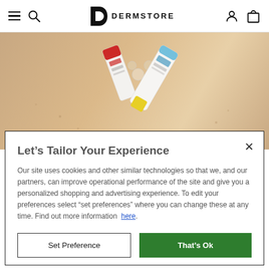DERMSTORE navigation bar with hamburger menu, search, logo, user and cart icons
[Figure (photo): Hero image showing sunscreen product tubes and small spherical beads on a beige/sandy surface]
SKIN CARE
Mineral vs. Chemical Sunscreen: Which is Better for Your Face?
Let's Tailor Your Experience
Our site uses cookies and other similar technologies so that we, and our partners, can improve operational performance of the site and give you a personalized shopping and advertising experience. To edit your preferences select "set preferences" where you can change these at any time. Find out more information here.
Set Preference | That's Ok